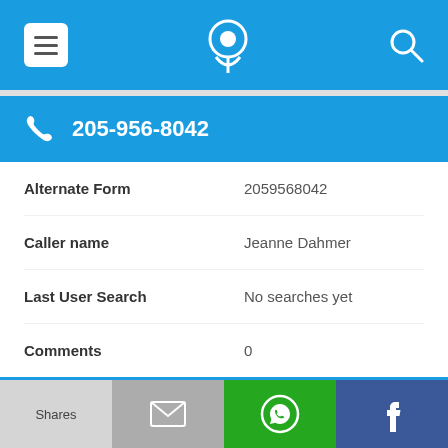App header with menu, phone locator logo, and search icons
205-956-8042
| Field | Value |
| --- | --- |
| Alternate Form | 2059568042 |
| Caller name | Jeanne Dahmer |
| Last User Search | No searches yet |
| Comments | 0 |
205-956-8659
Shares | [mail icon] | [WhatsApp icon] | [Facebook icon]